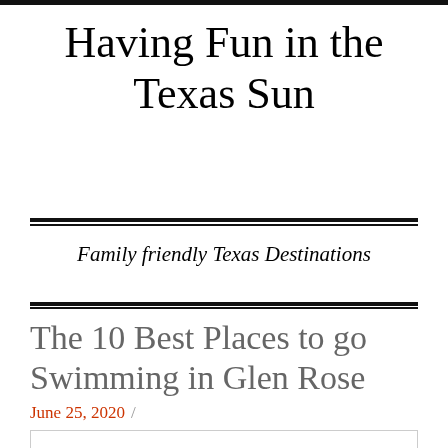Having Fun in the Texas Sun
Family friendly Texas Destinations
The 10 Best Places to go Swimming in Glen Rose
June 25, 2020 /
[Figure (photo): Image placeholder box at the bottom of the page]